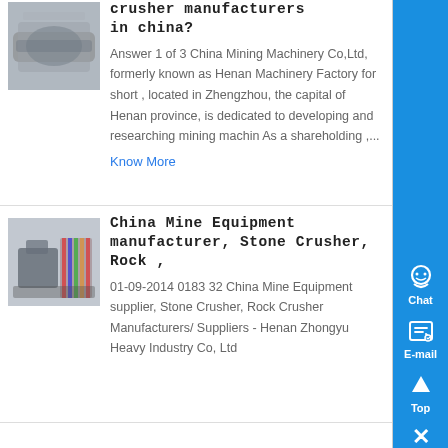[Figure (photo): Photo of rolled metal coils/sheets, industrial product]
crusher manufacturers in china?
Answer 1 of 3 China Mining Machinery Co,Ltd, formerly known as Henan Machinery Factory for short , located in Zhengzhou, the capital of Henan province, is dedicated to developing and researching mining machin As a shareholding ,...
Know More
[Figure (photo): Photo of industrial stone crusher / rock crusher machine equipment]
China Mine Equipment manufacturer, Stone Crusher, Rock ,
01-09-2014 0183 32 China Mine Equipment supplier, Stone Crusher, Rock Crusher Manufacturers/ Suppliers - Henan Zhongyu Heavy Industry Co, Ltd